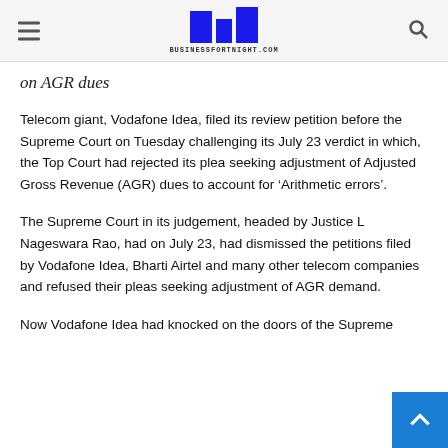BUSINESSFORTNIGHT.COM
on AGR dues
Telecom giant, Vodafone Idea, filed its review petition before the Supreme Court on Tuesday challenging its July 23 verdict in which, the Top Court had rejected its plea seeking adjustment of Adjusted Gross Revenue (AGR) dues to account for ‘Arithmetic errors’.
The Supreme Court in its judgement, headed by Justice L Nageswara Rao, had on July 23, had dismissed the petitions filed by Vodafone Idea, Bharti Airtel and many other telecom companies and refused their pleas seeking adjustment of AGR demand.
Now Vodafone Idea had knocked on the doors of the Supreme